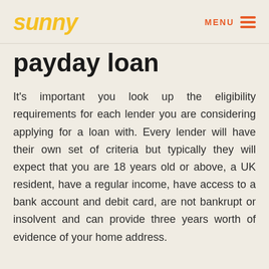sunny | MENU
payday loan
It's important you look up the eligibility requirements for each lender you are considering applying for a loan with. Every lender will have their own set of criteria but typically they will expect that you are 18 years old or above, a UK resident, have a regular income, have access to a bank account and debit card, are not bankrupt or insolvent and can provide three years worth of evidence of your home address.